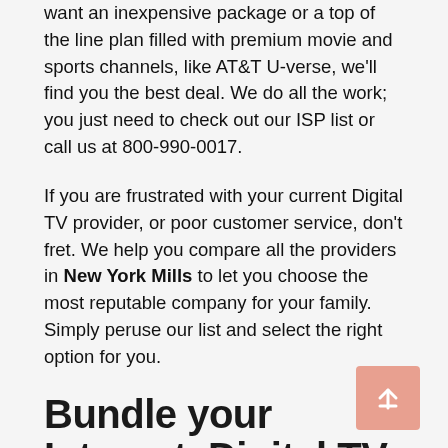want an inexpensive package or a top of the line plan filled with premium movie and sports channels, like AT&T U-verse, we'll find you the best deal. We do all the work; you just need to check out our ISP list or call us at 800-990-0017.
If you are frustrated with your current Digital TV provider, or poor customer service, don't fret. We help you compare all the providers in New York Mills to let you choose the most reputable company for your family. Simply peruse our list and select the right option for you.
Bundle your Internet, Digital TV, and Phone Service for the Best Deal
When it comes to digital home services, one fact reigns supreme: bundles save you money! Nearly all providers